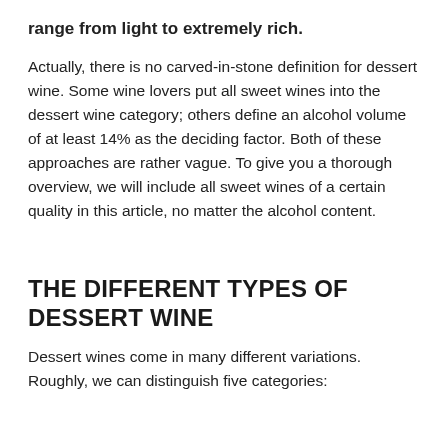range from light to extremely rich.
Actually, there is no carved-in-stone definition for dessert wine. Some wine lovers put all sweet wines into the dessert wine category; others define an alcohol volume of at least 14% as the deciding factor. Both of these approaches are rather vague. To give you a thorough overview, we will include all sweet wines of a certain quality in this article, no matter the alcohol content.
THE DIFFERENT TYPES OF DESSERT WINE
Dessert wines come in many different variations. Roughly, we can distinguish five categories: